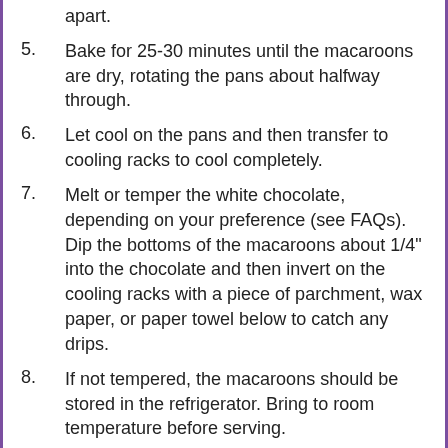apart.
5. Bake for 25-30 minutes until the macaroons are dry, rotating the pans about halfway through.
6. Let cool on the pans and then transfer to cooling racks to cool completely.
7. Melt or temper the white chocolate, depending on your preference (see FAQs). Dip the bottoms of the macaroons about 1/4" into the chocolate and then invert on the cooling racks with a piece of parchment, wax paper, or paper towel below to catch any drips.
8. If not tempered, the macaroons should be stored in the refrigerator. Bring to room temperature before serving.
1/2 lb white chocolate